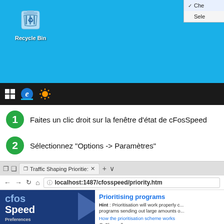[Figure (screenshot): Windows 10 desktop showing Recycle Bin icon on blue background, taskbar at bottom with Windows logo, Edge and another icon, and a context menu top-right partially visible with checkmark items 'Che...' and 'Sele...']
1 Faites un clic droit sur la fenêtre d'état de cFosSpeed
2 Sélectionnez "Options -> Paramètres"
[Figure (screenshot): Browser screenshot showing cFos Speed webpage at localhost:1487/cfosspeed/priority.htm with tab 'Traffic Shaping Priorities', navigation bar, cFos Speed logo on blue panel left side with Preferences menu, and right panel showing 'Prioritising programs' heading, Hint text about prioritisation, link 'How the prioritisation scheme works', and 'Show all programs' radio button option]